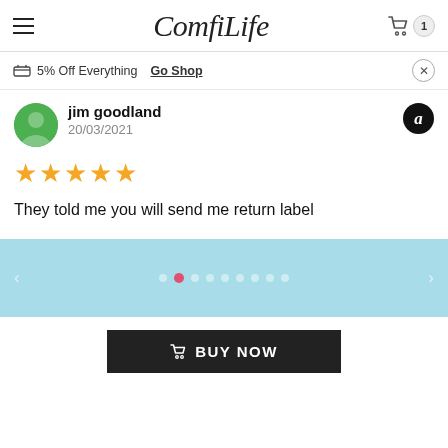ComfiLife
🏷 5% Off Everything  Go Shop
jim goodland
20/03/2021
★★★★★
They told me you will send me return label
[Figure (other): Pagination dots with light blue background]
🛒 BUY NOW